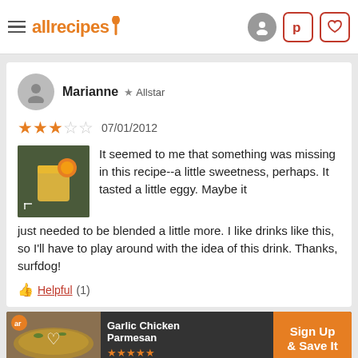allrecipes
Marianne ★ Allstar
★★★☆☆  07/01/2012
It seemed to me that something was missing in this recipe--a little sweetness, perhaps. It tasted a little eggy. Maybe it just needed to be blended a little more. I like drinks like this, so I'll have to play around with the idea of this drink. Thanks, surfdog!
👍 Helpful (1)
[Figure (photo): Thumbnail photo of a cocktail drink with orange garnish]
[Figure (photo): Ad banner showing Garlic Chicken Parmesan with Sign Up & Save It call to action]